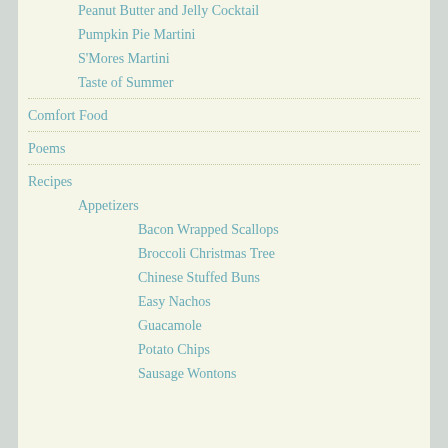Peanut Butter and Jelly Cocktail
Pumpkin Pie Martini
S'Mores Martini
Taste of Summer
Comfort Food
Poems
Recipes
Appetizers
Bacon Wrapped Scallops
Broccoli Christmas Tree
Chinese Stuffed Buns
Easy Nachos
Guacamole
Potato Chips
Sausage Wontons